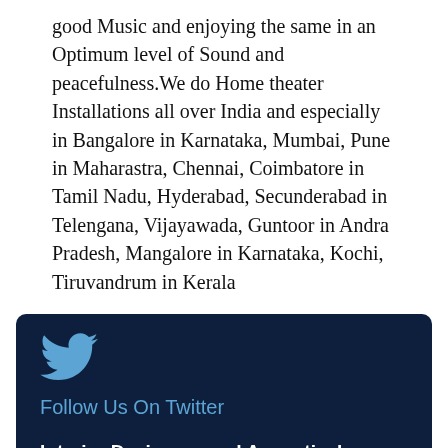good Music and enjoying the same in an Optimum level of Sound and peacefulness.We do Home theater Installations all over India and especially in Bangalore in Karnataka, Mumbai, Pune in Maharastra, Chennai, Coimbatore in Tamil Nadu, Hyderabad, Secunderabad in Telengana, Vijayawada, Guntoor in Andra Pradesh, Mangalore in Karnataka, Kochi, Tiruvandrum in Kerala
[Figure (logo): Twitter bird logo icon in blue]
Follow Us On Twitter
Interior Designers and Acoustical Contractors in Bangalore, Mangalore in Karnataka,